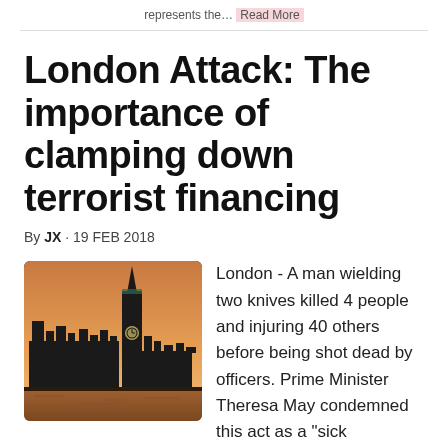represents the… Read More
London Attack: The importance of clamping down terrorist financing
By JX · 19 FEB 2018
[Figure (photo): Big Ben and the Houses of Parliament at dusk/sunset, London, silhouetted against an orange sky]
London - A man wielding two knives killed 4 people and injuring 40 others before being shot dead by officers. Prime Minister Theresa May condemned this act as a "sick